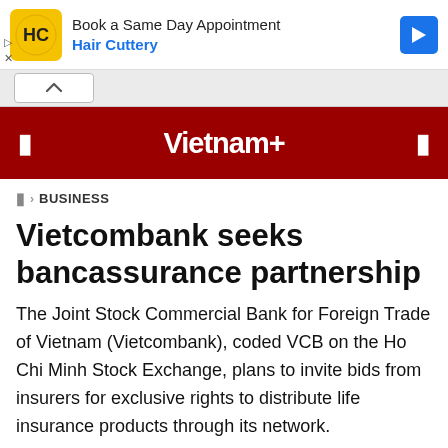[Figure (screenshot): Advertisement banner for Hair Cuttery: 'Book a Same Day Appointment' with yellow HC logo and blue arrow button]
Vietnam+
BUSINESS
Vietcombank seeks bancassurance partnership
The Joint Stock Commercial Bank for Foreign Trade of Vietnam (Vietcombank), coded VCB on the Ho Chi Minh Stock Exchange, plans to invite bids from insurers for exclusive rights to distribute life insurance products through its network.